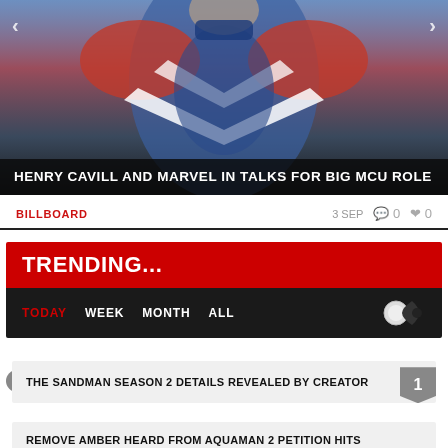[Figure (photo): A person in a red, white and blue superhero costume resembling Captain Britain or similar Marvel character, with chevron/V pattern on chest. Navigation arrows visible on left and right sides.]
HENRY CAVILL AND MARVEL IN TALKS FOR BIG MCU ROLE
BILLBOARD   3 SEP   💬 0   ♥ 0
TRENDING...
TODAY   WEEK   MONTH   ALL
THE SANDMAN SEASON 2 DETAILS REVEALED BY CREATOR
REMOVE AMBER HEARD FROM AQUAMAN 2 PETITION HITS